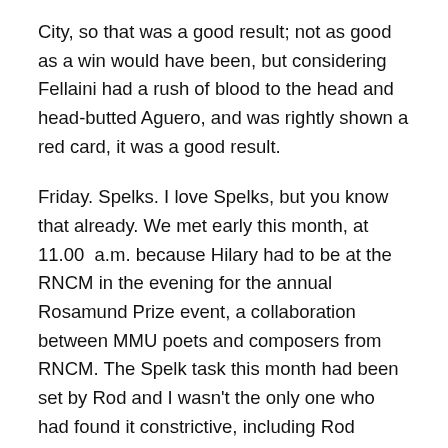City, so that was a good result; not as good as a win would have been, but considering Fellaini had a rush of blood to the head and head-butted Aguero, and was rightly shown a red card, it was a good result.
Friday. Spelks. I love Spelks, but you know that already. We met early this month, at 11.00  a.m. because Hilary had to be at the RNCM in the evening for the annual Rosamund Prize event, a collaboration between MMU poets and composers from RNCM. The Spelk task this month had been set by Rod and I wasn't the only one who had found it constrictive, including Rod himself. But the other Spelks had more or less stuck to the rules and produced some reasonable poems. It was a good session. I had made pastitsio for lunch and we ate too many nibbles and drank too much wine, but it was a lovely